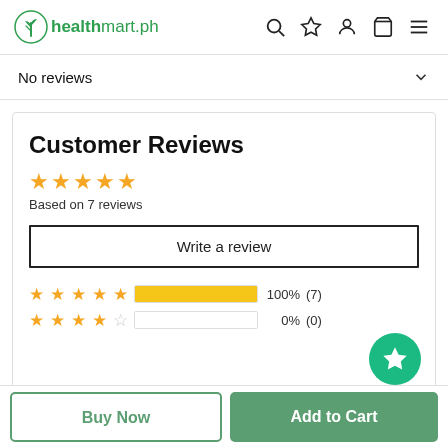[Figure (logo): healthmart.ph logo with green plant icon]
No reviews
Customer Reviews
Based on 7 reviews
Write a review
★★★★★ 100% (7)
★★★★☆ 0% (0)
Buy Now
Add to Cart